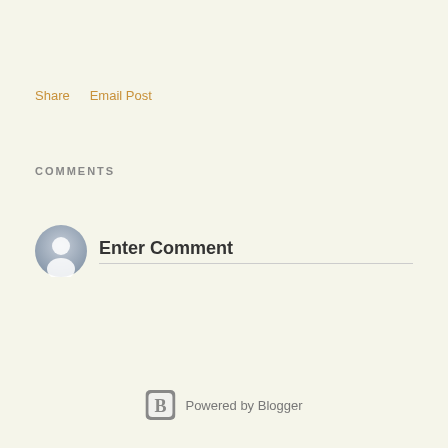Share    Email Post
COMMENTS
Enter Comment
[Figure (logo): Powered by Blogger logo and text at bottom center of page]